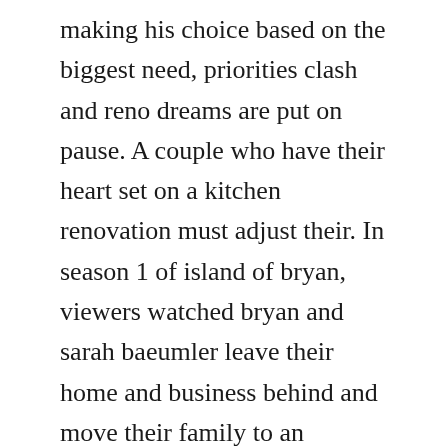making his choice based on the biggest need, priorities clash and reno dreams are put on pause. A couple who have their heart set on a kitchen renovation must adjust their. In season 1 of island of bryan, viewers watched bryan and sarah baeumler leave their home and business behind and move their family to an undeveloped island in the bahamas in order to renovate and restore a rundown beach front resort.
Six takeaways from americas test kitchens lawsuit against. Its been a little over a year